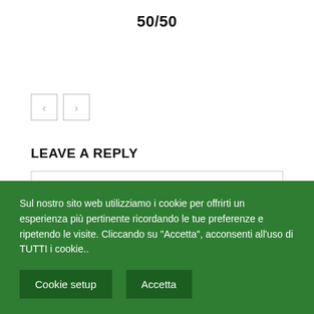50/50
[Figure (other): Navigation previous and next arrow buttons]
LEAVE A REPLY
Comment:
Sul nostro sito web utilizziamo i cookie per offrirti un esperienza più pertinente ricordando le tue preferenze e ripetendo le visite. Cliccando su "Accetta", acconsenti all'uso di TUTTI i cookie..
Cookie setup
Accetta